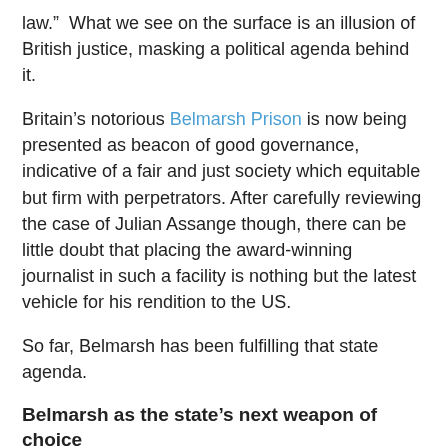law.”  What we see on the surface is an illusion of British justice, masking a political agenda behind it.
Britain’s notorious Belmarsh Prison is now being presented as beacon of good governance, indicative of a fair and just society which equitable but firm with perpetrators. After carefully reviewing the case of Julian Assange though, there can be little doubt that placing the award-winning journalist in such a facility is nothing but the latest vehicle for his rendition to the US.
So far, Belmarsh has been fulfilling that state agenda.
Belmarsh as the state’s next weapon of choice
Judge Deborah Taylor sent Assange to category A Belmarsh prison for a bail-skipping offense, even though he’d demonstrated that he had good reason to skip bail.
It is difficult not to conclude that the category A assignment was done so that he would be weak and vulnerable. In